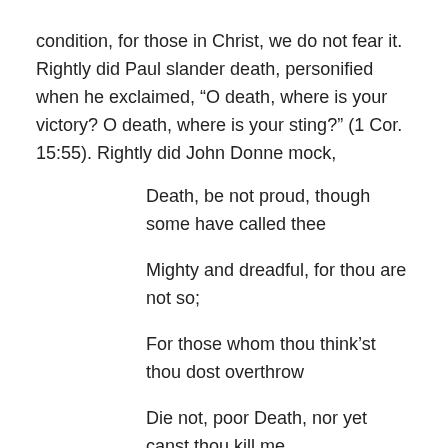condition, for those in Christ, we do not fear it. Rightly did Paul slander death, personified when he exclaimed, “O death, where is your victory? O death, where is your sting?” (1 Cor. 15:55). Rightly did John Donne mock,
Death, be not proud, though some have called thee
Mighty and dreadful, for thou are not so;
For those whom thou think’st thou dost overthrow
Die not, poor Death, nor yet canst thou kill me.
From rest and sleep, which but thy pictures be,
Much pleasure; then from thee much more must